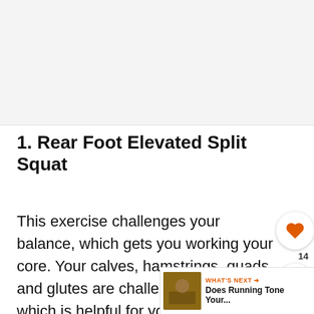[Figure (photo): Image placeholder area at top of page, light grey background]
1. Rear Foot Elevated Split Squat
This exercise challenges your balance, which gets you working your core. Your calves, hamstrings, quads, and glutes are challenged unilaterally, which is helpful for your running, which you to drive off of one leg with each